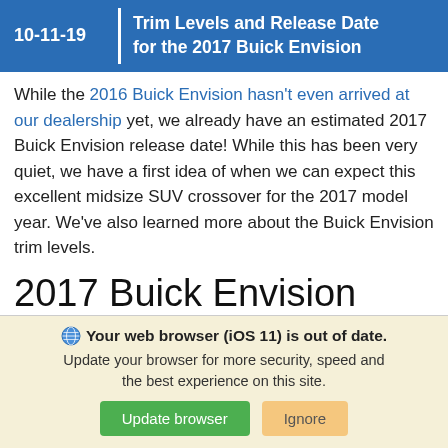10-11-19 | Trim Levels and Release Date for the 2017 Buick Envision
While the 2016 Buick Envision hasn't even arrived at our dealership yet, we already have an estimated 2017 Buick Envision release date! While this has been very quiet, we have a first idea of when we can expect this excellent midsize SUV crossover for the 2017 model year. We've also learned more about the Buick Envision trim levels.
2017 Buick Envision Release Date
Your web browser (iOS 11) is out of date. Update your browser for more security, speed and the best experience on this site. Update browser Ignore